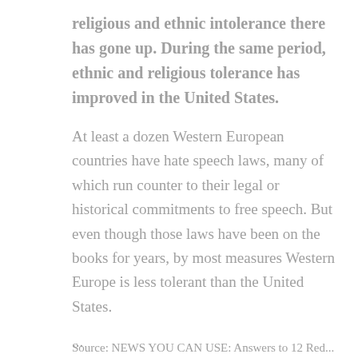religious and ethnic intolerance there has gone up. During the same period, ethnic and religious tolerance has improved in the United States.
At least a dozen Western European countries have hate speech laws, many of which run counter to their legal or historical commitments to free speech. But even though those laws have been on the books for years, by most measures Western Europe is less tolerant than the United States.
...
Source: NEWS YOU CAN USE: Answers to 12 Red...